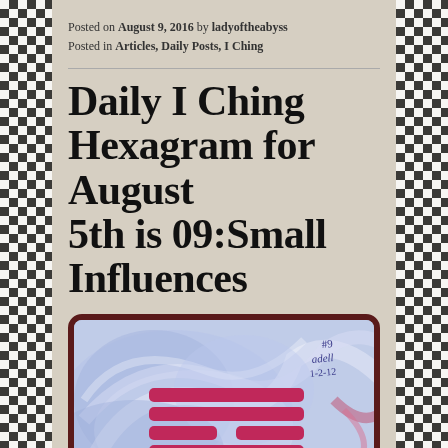Posted on August 9, 2016 by ladyoftheabyss
Posted in Articles, Daily Posts, I Ching
Daily I Ching Hexagram for August 5th is 09:Small Influences
[Figure (illustration): Artwork showing I Ching hexagram #9 displayed on a tablet-like frame, with swirling blue and purple abstract background and magenta/pink horizontal bars representing the hexagram lines. Handwritten annotation '#9 adell 1-2-12' visible in upper right.]